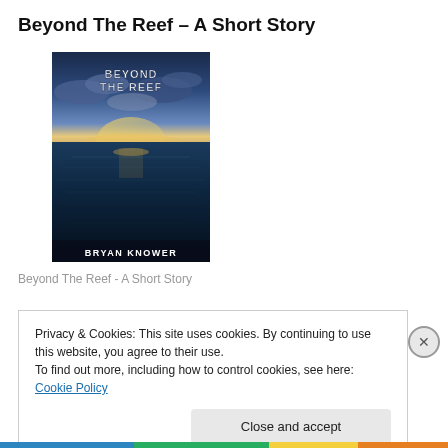Beyond The Reef – A Short Story
[Figure (illustration): Book cover for 'Beyond The Reef' by Bryan Knower. Shows an ocean scene with dramatic cloudy sky and calm blue water. Title text 'BEYOND THE REEF' appears at top, author name 'BRYAN KNOWER' at bottom.]
Beyond The Reef - A Short Story
Privacy & Cookies: This site uses cookies. By continuing to use this website, you agree to their use.
To find out more, including how to control cookies, see here: Cookie Policy
Close and accept